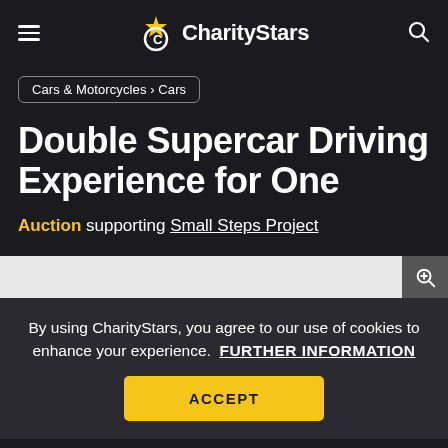CharityStars navigation bar with hamburger menu, CharityStars logo, and search icon
Cars & Motorcycles › Cars
Double Supercar Driving Experience for One
Auction supporting Small Steps Project
[Figure (screenshot): Light gray image strip with a zoom/expand button (plus in circle) on the right side]
By using CharityStars, you agree to our use of cookies to enhance your experience.  FURTHER INFORMATION
ACCEPT